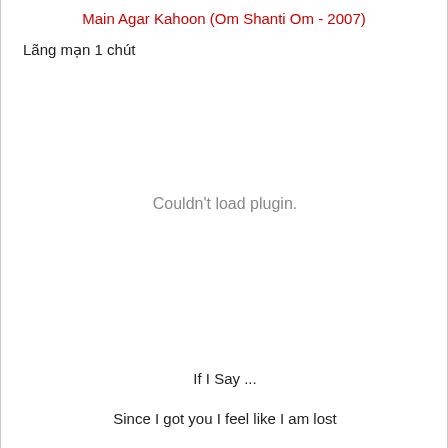Main Agar Kahoon (Om Shanti Om - 2007)
Lãng mạn 1 chút
Couldn't load plugin.
If I Say ...
Since I got you I feel like I am lost